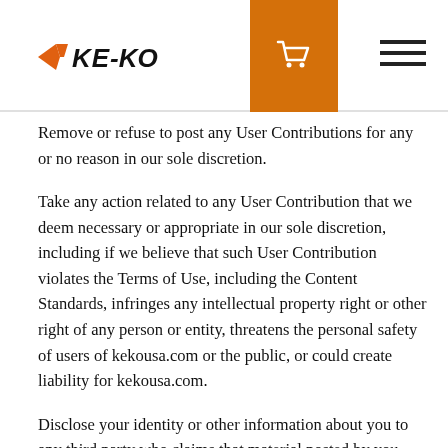Ke-Ko logo, shopping cart, menu
Remove or refuse to post any User Contributions for any or no reason in our sole discretion.
Take any action related to any User Contribution that we deem necessary or appropriate in our sole discretion, including if we believe that such User Contribution violates the Terms of Use, including the Content Standards, infringes any intellectual property right or other right of any person or entity, threatens the personal safety of users of kekousa.com or the public, or could create liability for kekousa.com.
Disclose your identity or other information about you to any third party who claims that material posted by you violates their rights, including their intellectual